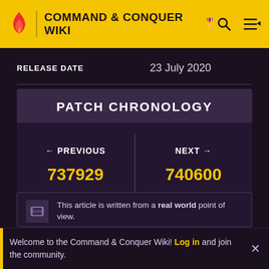COMMAND & CONQUER WIKI
RELEASE DATE   23 July 2020
PATCH CHRONOLOGY
| ← PREVIOUS | NEXT → |
| --- | --- |
| 737929 | 740600 |
This article is written from a real world point of view.
Welcome to the Command & Conquer Wiki! Log in and join the community.